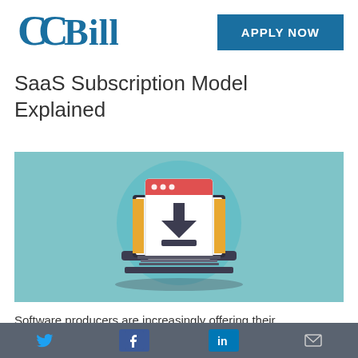[Figure (logo): CCBill logo in blue]
[Figure (other): Apply Now button in dark blue]
SaaS Subscription Model Explained
[Figure (illustration): Flat illustration of a laptop with a browser window showing a download arrow icon, on a teal/light blue background]
Software producers are increasingly offering their software products as cloud services instead of as one-time, permanent desktop installations. The
[Figure (other): Social media share bar with Twitter, Facebook, LinkedIn, and email icons on a dark gray background]